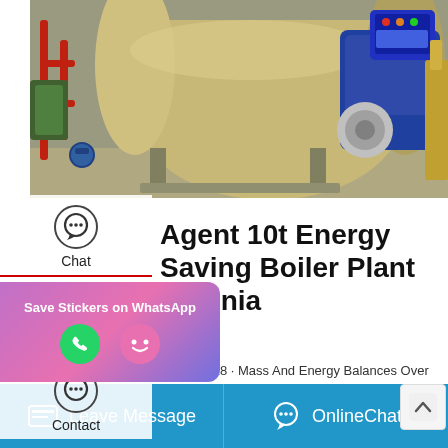[Figure (photo): Industrial boiler – large cylindrical tan/beige vessel with blue motor assembly and control panel, installed in a facility with red piping and green equipment]
Agent 10t Energy Saving Boiler Plant Estonia
Jun 26, 2018 · Mass And Energy Balances Over Oil Fired Boiler – UK Essays. In engineering industry, boilers play an important role, they are widely used to generate steam with a pressure above the atmospheric pressure; the steam produced is used in in heating applications such as a heat
Leave Message   OnlineChat